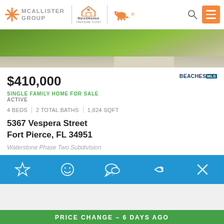[Figure (logo): McAllister Group NextHome Treasure Coast logo with orange star and dog icon]
[Figure (photo): Lawn and driveway exterior photo of property]
$410,000
SINGLE FAMILY HOME FOR SALE
ACTIVE
4 BEDS | 2 TOTAL BATHS | 1,824 SQFT
5367 Vespera Street
Fort Pierce, FL 34951
Waterstone Phase Two Subdivision
[Figure (infographic): Blue action bar with star, smiley, chat, share, and close icons]
PRICE CHANGE - 6 DAYS AGO
[Figure (photo): Sky/pool photo of property]